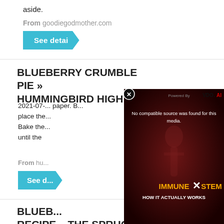aside.
From goodiegodmother.com
See detai
BLUEBERRY CRUMBLE PIE » HUMMINGBIRD HIGH
[Figure (screenshot): Video player overlay showing 'No compatible source was found for this media.' with background text 'IMMUNE SYSTEM HOW IT ACTUALLY WORKS' and 'Powered By VDO.AI' header. Close button (x) visible.]
2021-07-... paper. B... place the... Bake the... until the...
From hu...
See d...
BLUEB... RECIPE... THE SPRUCE EATS